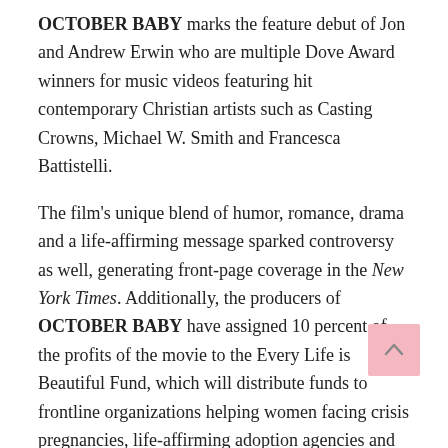OCTOBER BABY marks the feature debut of Jon and Andrew Erwin who are multiple Dove Award winners for music videos featuring hit contemporary Christian artists such as Casting Crowns, Michael W. Smith and Francesca Battistelli.
The film's unique blend of humor, romance, drama and a life-affirming message sparked controversy as well, generating front-page coverage in the New York Times. Additionally, the producers of OCTOBER BABY have assigned 10 percent of the profits of the movie to the Every Life is Beautiful Fund, which will distribute funds to frontline organizations helping women facing crisis pregnancies, life-affirming adoption agencies and those caring for orphans.
Special features on the OCTOBER BABY DVD include:
Commentary by Jon and Andrew Erwin and the